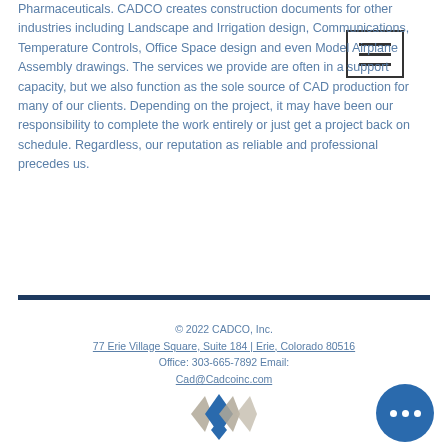Pharmaceuticals. CADCO creates construction documents for other industries including Landscape and Irrigation design, Communications, Temperature Controls, Office Space design and even Model Airplane Assembly drawings. The services we provide are often in a support capacity, but we also function as the sole source of CAD production for many of our clients. Depending on the project, it may have been our responsibility to complete the work entirely or just get a project back on schedule. Regardless, our reputation as reliable and professional precedes us.
[Figure (other): Hamburger menu icon - three horizontal lines inside a rectangle border]
© 2022 CADCO, Inc.
77 Erie Village Square, Suite 184 | Erie, Colorado 80516
Office: 303-665-7892 Email: Cad@Cadcoinc.com
[Figure (logo): CADCO diamond/rhombus logo made of overlapping diamond shapes in blue and gray/taupe colors]